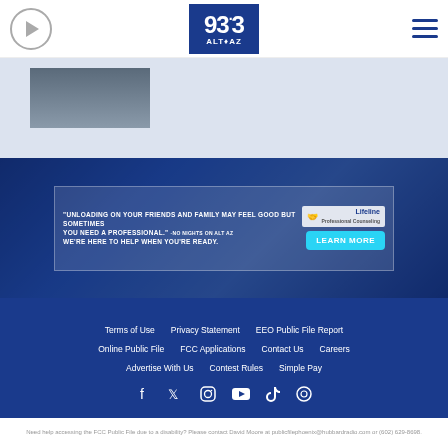[Figure (logo): 93.3 ALT AZ radio station logo in dark blue box with play button icon and hamburger menu]
[Figure (photo): Partial concert/event photo with person image on left side]
[Figure (infographic): Lifeline advertisement banner over concert crowd background. Text: 'UNLOADING ON YOUR FRIENDS AND FAMILY MAY FEEL GOOD BUT SOMETIMES YOU NEED A PROFESSIONAL.' -NO NIGHTS ON ALT AZ WE'RE HERE TO HELP WHEN YOU'RE READY. LEARN MORE button with Lifeline logo.]
Terms of Use   Privacy Statement   EEO Public File Report   Online Public File   FCC Applications   Contact Us   Careers   Advertise With Us   Contest Rules   Simple Pay
[Figure (infographic): Social media icons row: Facebook, Twitter, Instagram, YouTube, TikTok, and one more icon]
Need help accessing the FCC Public File due to a disability? Please contact David Moore at publicfilephoenix@hubbardradio.com or (602) 629-8698.